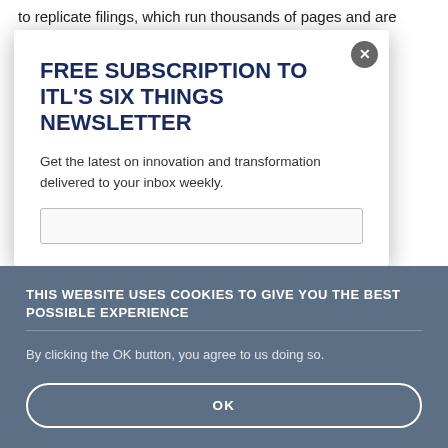to replicate filings, which run thousands of pages and are filings, iting the ificult to nced risks at tomer
FREE SUBSCRIPTION TO ITL'S SIX THINGS NEWSLETTER
Get the latest on innovation and transformation delivered to your inbox weekly.
THIS WEBSITE USES COOKIES TO GIVE YOU THE BEST POSSIBLE EXPERIENCE
By clicking the OK button, you agree to us doing so.
OK